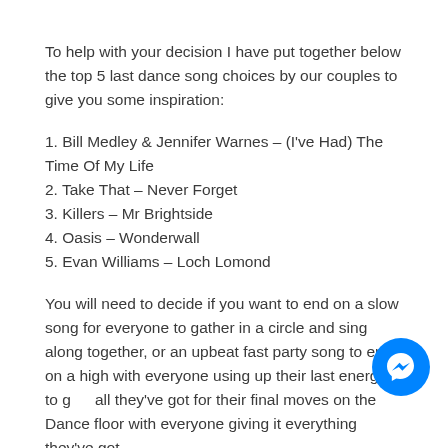To help with your decision I have put together below the top 5 last dance song choices by our couples to give you some inspiration:
1. Bill Medley & Jennifer Warnes – (I've Had) The Time Of My Life
2. Take That – Never Forget
3. Killers – Mr Brightside
4. Oasis – Wonderwall
5. Evan Williams – Loch Lomond
You will need to decide if you want to end on a slow song for everyone to gather in a circle and sing along together, or an upbeat fast party song to end on a high with everyone using up their last energy to give all they've got for their final moves on the Dance floor with everyone giving it everything they've got.